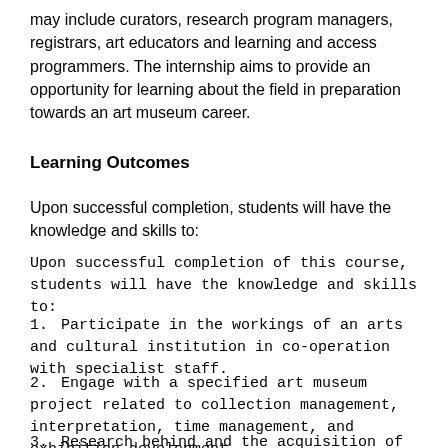may include curators, research program managers, registrars, art educators and learning and access programmers. The internship aims to provide an opportunity for learning about the field in preparation towards an art museum career.
Learning Outcomes
Upon successful completion, students will have the knowledge and skills to:
Upon successful completion of this course, students will have the knowledge and skills to:
Participate in the workings of an arts and cultural institution in co-operation with specialist staff.
Engage with a specified art museum project related to collection management, interpretation, time management, and exhibition development.
Research behind and the acquisition of an art object